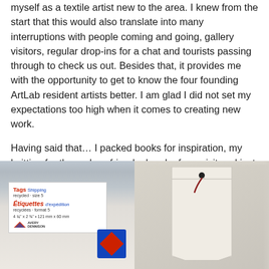myself as a textile artist new to the area. I knew from the start that this would also translate into many interruptions with people coming and going, gallery visitors, regular drop-ins for a chat and tourists passing through to check us out. Besides that, it provides me with the opportunity to get to know the four founding ArtLab resident artists better. I am glad I did not set my expectations too high when it comes to creating new work.
Having said that… I packed books for inspiration, my knitting for those days friends drop by for a visit and just want to hang out creatively. I also unearthed these:
[Figure (photo): Photo of Avery Dennison shipping tags packaging — Tags Shipping recycled size 5 / Étiquettes d'expédition recyclées format 5, 4 3/4 x 2 3/8, 121mm x 60mm, with Avery Dennison logo and blue/red diamond logo visible]
[Figure (photo): Photo of a blank white shipping/luggage tag inside clear plastic blister packaging, showing the tag with a hole and red string at the top]